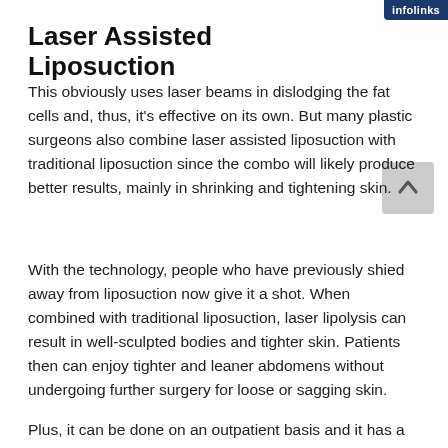Laser Assisted Liposuction
[Figure (logo): Infolinks advertisement badge in dark blue with white text reading 'infolinks']
This obviously uses laser beams in dislodging the fat cells and, thus, it's effective on its own. But many plastic surgeons also combine laser assisted liposuction with traditional liposuction since the combo will likely produce better results, mainly in shrinking and tightening skin.
With the technology, people who have previously shied away from liposuction now give it a shot. When combined with traditional liposuction, laser lipolysis can result in well-sculpted bodies and tighter skin. Patients then can enjoy tighter and leaner abdomens without undergoing further surgery for loose or sagging skin.
Plus, it can be done on an outpatient basis and it has a